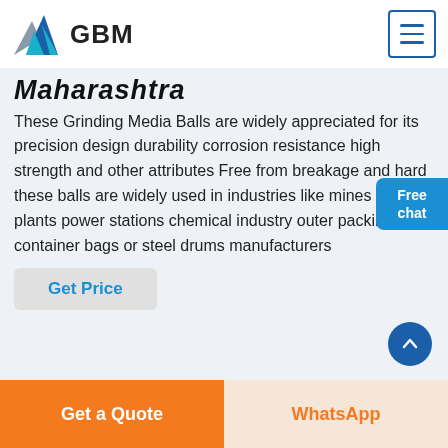GBM
Maharashtra (partially visible)
These Grinding Media Balls are widely appreciated for its precision design durability corrosion resistance high strength and other attributes Free from breakage and hard these balls are widely used in industries like mines cement plants power stations chemical industry outer packing container bags or steel drums manufacturers
Get Price
Get a Quote | WhatsApp